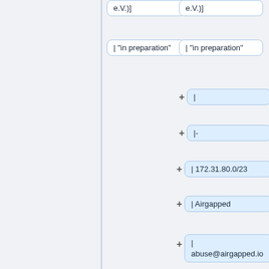e.V.)]
e.V.)]
| "in preparation"
| "in preparation"
|
|-
| 172.31.80.0/23
| Airgapped
| abuse@airgapped.io
| Airgapped Base
| 173.31.80.253
|-
| 172.31.86.0/24